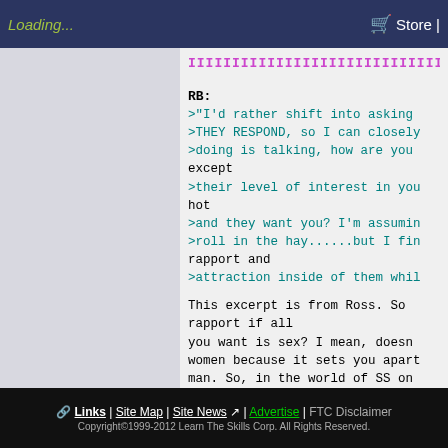Loading... | Store
IIIIIIIIIIIIIIIIIIIIIIIIIIIIIIIIIII...
RB:
>"I'd rather shift into asking
>THEY RESPOND, so I can closely
>doing is talking, how are you
except
>their level of interest in you
hot
>and they want you? I'm assumin
>roll in the hay......but I fin
rapport and
>attraction inside of them whil
This excerpt is from Ross.  So
rapport if all
you want is sex?  I mean, doesn
women because it sets you apart
man.  So, in the world of SS on
necessary? My impression from r
sure there are PUA's  like Mania
use
is minimal.
My Comment:  I can't imagine ge
rapport.  And I don't think Ros
Links | Site Map | Site News | Advertise | FTC Disclaimer
Copyright©1999-2012 Learn The Skills Corp. All Rights Reserved.